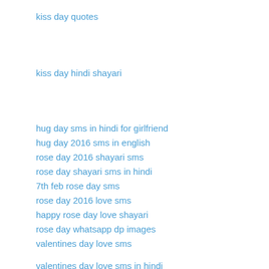kiss day quotes
kiss day hindi shayari
hug day sms in hindi for girlfriend
hug day 2016 sms in english
rose day 2016 shayari sms
rose day shayari sms in hindi
7th feb rose day sms
rose day 2016 love sms
happy rose day love shayari
rose day whatsapp dp images
valentines day love sms
valentines day love sms in hindi
happy valentines day 2016 love SMS
happy valentine day love sms in tamil
happy valentine day love sms in Telugu